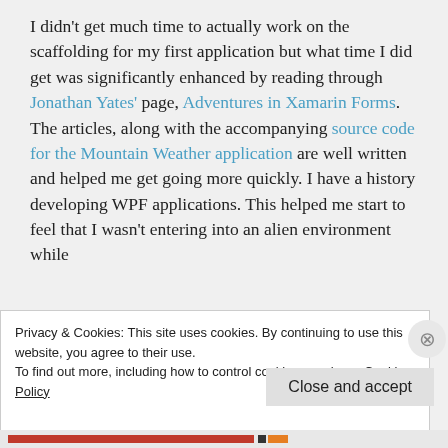I didn't get much time to actually work on the scaffolding for my first application but what time I did get was significantly enhanced by reading through Jonathan Yates' page, Adventures in Xamarin Forms. The articles, along with the accompanying source code for the Mountain Weather application are well written and helped me get going more quickly. I have a history developing WPF applications. This helped me start to feel that I wasn't entering into an alien environment while
Privacy & Cookies: This site uses cookies. By continuing to use this website, you agree to their use.
To find out more, including how to control cookies, see here: Cookie Policy
Close and accept